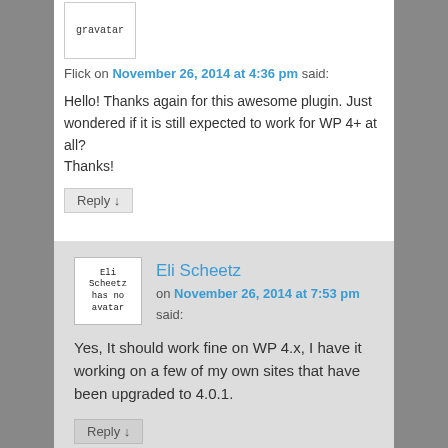[Figure (other): Gravatar placeholder box with text 'gravatar']
Flick on November 26, 2014 at 4:36 pm said:
Hello! Thanks again for this awesome plugin. Just wondered if it is still expected to work for WP 4+ at all?
Thanks!
Reply ↓
[Figure (other): Avatar placeholder for Eli Scheetz with text 'Eli Scheetz has no avatar']
Eli Scheetz on November 26, 2014 at 7:53 pm said:
Yes, It should work fine on WP 4.x, I have it working on a few of my own sites that have been upgraded to 4.0.1.
Reply ↓